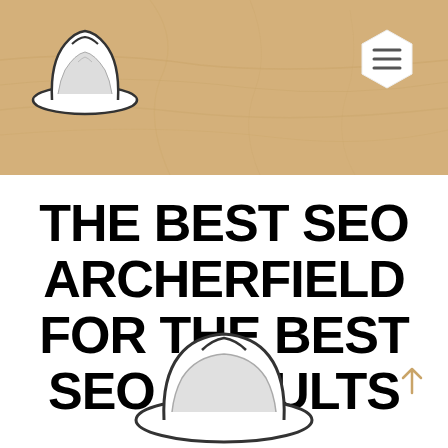[Figure (illustration): Header banner with wood-grain tan/golden background texture, featuring a hand-drawn fedora/bowler hat logo on the left and a hexagonal menu icon on the right]
THE BEST SEO ARCHERFIELD FOR THE BEST SEO RESULTS
[Figure (illustration): Hand-drawn fedora/panama hat illustration at the bottom center of the page, partially cropped]